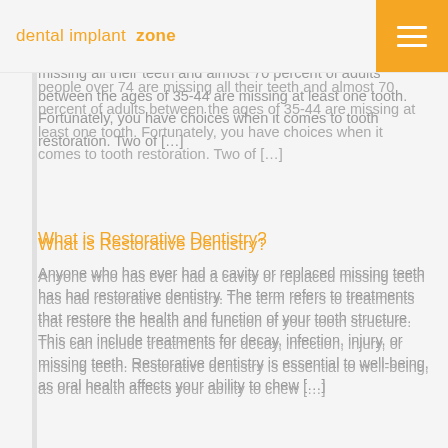dental implant zone
in negatively affect your self-esteem, yo nd your remaining natural teeth. One in people over 74 are missing all their teeth and almost 70 percent of adults between the ages of 35-44 are missing at least one tooth. Fortunately, you have choices when it comes to tooth restoration. Two of [...]
What is Restorative Dentistry?
Anyone who has ever had a cavity or replaced missing teeth has had restorative dentistry. The term refers to treatments that restore the health and function of your tooth structure. This can include treatments for decay, infection, injury, or missing teeth. Restorative dentistry is essential to well-being, as oral health affects your ability to chew [...]
3 Risks When You Fail To Treat Missing Teeth
3 Risks When You Fail To Treat Missing Teeth There are various ways people lose teeth. Some people will experience facial trauma while others will have substantial periodontal disease that impacts the health of the jawbone holding teeth in place. If you lose a tooth, then you need to call our oral